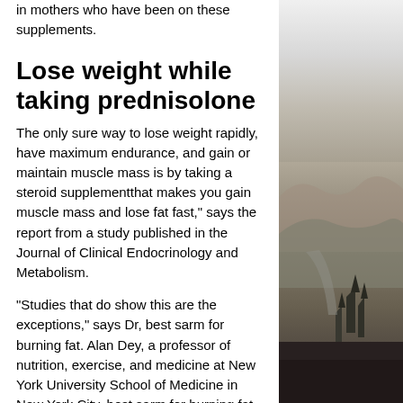in mothers who have been on these supplements.
Lose weight while taking prednisolone
The only sure way to lose weight rapidly, have maximum endurance, and gain or maintain muscle mass is by taking a steroid supplementthat makes you gain muscle mass and lose fat fast," says the report from a study published in the Journal of Clinical Endocrinology and Metabolism.
"Studies that do show this are the exceptions," says Dr, best sarm for burning fat. Alan Dey, a professor of nutrition, exercise, and medicine at New York University School of Medicine in New York City, best sarm for burning fat.
[Figure (photo): Black and white landscape photograph showing a hilly terrain with trees and a road or path visible in the distance, taken from an elevated perspective.]